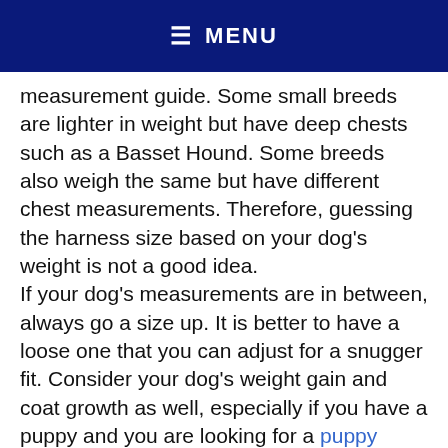MENU
measurement guide. Some small breeds are lighter in weight but have deep chests such as a Basset Hound. Some breeds also weigh the same but have different chest measurements. Therefore, guessing the harness size based on your dog's weight is not a good idea. If your dog's measurements are in between, always go a size up. It is better to have a loose one that you can adjust for a snugger fit. Consider your dog's weight gain and coat growth as well, especially if you have a puppy and you are looking for a puppy harness. If these are relevant variables for your pooch, add two inches to the girth measurement. A no pull harness that can be adjusted is best